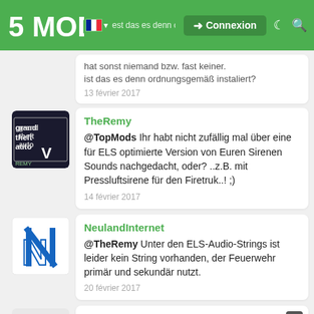5MODS — Connexion
hat sonst niemand bzw. fast keiner.
ist das es denn ordnungsgemäß instaliert?
13 février 2017
TheRemy
@TopMods Ihr habt nicht zufällig mal über eine für ELS optimierte Version von Euren Sirenen Sounds nachgedacht, oder? ..z.B. mit Pressluftsirene für den Firetruk..! ;)
14 février 2017
NeulandInternet
@TheRemy Unter den ELS-Audio-Strings ist leider kein String vorhanden, der Feuerwehr primär und sekundär nutzt.
20 février 2017
cyber30
bei mir geht bei dem ersetzten polizeimotorrad weder blaulich noch sirene nur normale hupe wie bekomme